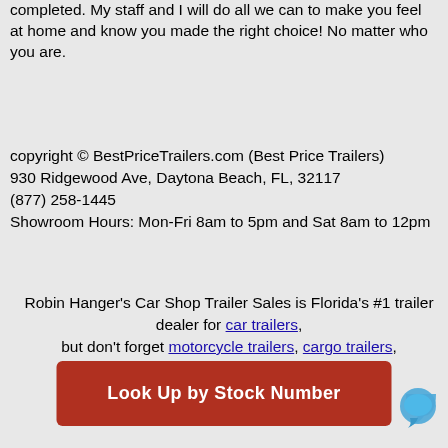completed. My staff and I will do all we can to make you feel at home and know you made the right choice! No matter who you are.
copyright © BestPriceTrailers.com (Best Price Trailers)
930 Ridgewood Ave, Daytona Beach, FL, 32117
(877) 258-1445
Showroom Hours: Mon-Fri 8am to 5pm and Sat 8am to 12pm
Robin Hanger's Car Shop Trailer Sales is Florida's #1 trailer dealer for car trailers, but don't forget motorcycle trailers, cargo trailers, Stacker trailers and race car trailers.
[Figure (other): Red button labeled 'Look Up by Stock Number']
[Figure (other): Chat bubble icon in bottom right corner]